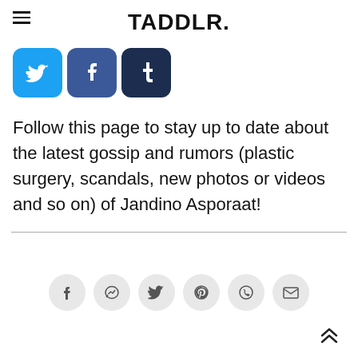TADDLR.
[Figure (other): Social media follow icons for Twitter (blue bird), Facebook (blue f), and Tumblr (dark blue t)]
Follow this page to stay up to date about the latest gossip and rumors (plastic surgery, scandals, new photos or videos and so on) of Jandino Asporaat!
[Figure (other): Share bar with circular icon buttons: Facebook, Messenger, Twitter, Pinterest, WhatsApp, Email]
[Figure (other): Back to top double chevron arrow button]